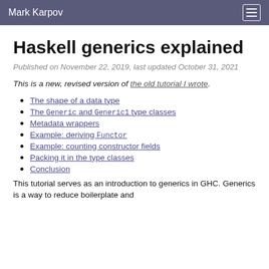Mark Karpov
Haskell generics explained
Published on November 22, 2019, last updated October 31, 2021
This is a new, revised version of the old tutorial I wrote.
The shape of a data type
The Generic and Generic1 type classes
Metadata wrappers
Example: deriving Functor
Example: counting constructor fields
Packing it in the type classes
Conclusion
This tutorial serves as an introduction to generics in GHC. Generics is a way to reduce boilerplate and